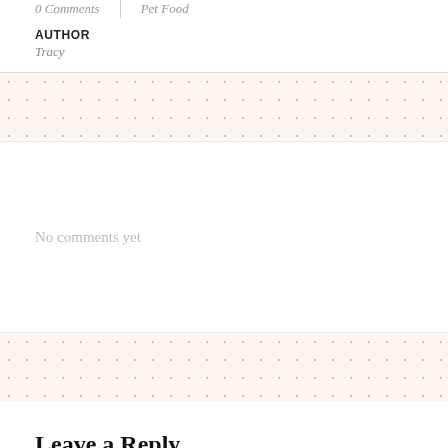0 Comments
Pet Food
AUTHOR
Tracy
No comments yet
Leave a Reply
NAME (REQUIRED)